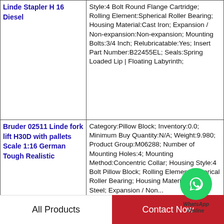| Product | Specifications |
| --- | --- |
| Linde Stapler H 16 Diesel | Style:4 Bolt Round Flange Cartridge; Rolling Element:Spherical Roller Bearing; Housing Material:Cast Iron; Expansion / Non-expansion:Non-expansion; Mounting Bolts:3/4 Inch; Relubricatable:Yes; Insert Part Number:B22455EL; Seals:Spring Loaded Lip | Floating Labyrinth; |
| Bruder 02511 Linde fork lift H30D with pallets Scale 1:16 German Tough Realistic | Category:Pillow Block; Inventory:0.0; Minimum Buy Quantity:N/A; Weight:9.980; Product Group:M06288; Number of Mounting Holes:4; Mounting Method:Concentric Collar; Housing Style:4 Bolt Pillow Block; Rolling Element:Spherical Roller Bearing; Housing Material:Cast Steel; Expansion / Non... |
[Figure (logo): WhatsApp Online badge — green circle with phone icon and italic text 'WhatsApp Online']
All Products
Contact Now